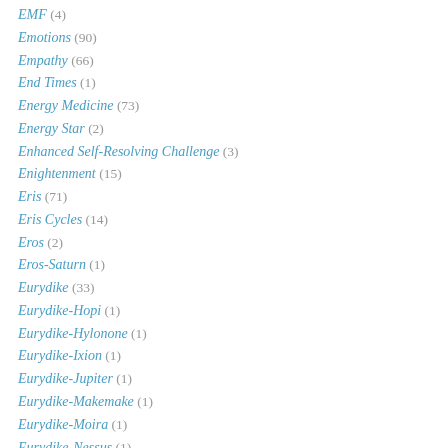EMF (4)
Emotions (90)
Empathy (66)
End Times (1)
Energy Medicine (73)
Energy Star (2)
Enhanced Self-Resolving Challenge (3)
Enightenment (15)
Eris (71)
Eris Cycles (14)
Eros (2)
Eros-Saturn (1)
Eurydike (33)
Eurydike-Hopi (1)
Eurydike-Hylonone (1)
Eurydike-Ixion (1)
Eurydike-Jupiter (1)
Eurydike-Makemake (1)
Eurydike-Moira (1)
Eurydike-Nessus (1)